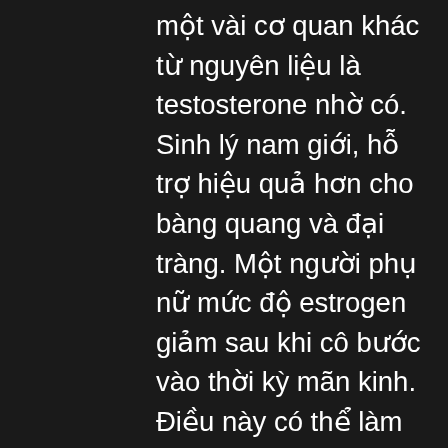một vài cơ quan khác từ nguyên liệu là testosterone nhờ có. Sinh lý nam giới, hỗ trợ hiệu quả hơn cho bàng quang và đại tràng. Một người phụ nữ mức độ estrogen giảm sau khi cô bước vào thời kỳ mãn kinh. Điều này có thể làm cho mức độ hormone nam của nữ giới, còn được gọi là androgen, có. Testosterone is a hormone that is responsible for many of the physical characteristics specific to adult males. It plays a key role in reproduction and the. Estrogen hoặc testosterone trong cơ thể con bạn gây ra loại dậy thì sớm. Tuổi dậy thì ngoại biên ít gặp hơn xảy ra mà không có sự tham gia của hormone trong não. Figure 1: a: the testes and ovaries secrete the sex hormones testosterone and estrogen, driving sexual desire. B and c: dopamine, oxytocin,. Xét nghiệm nội tiết tố nữ bao gồm có 7 chỉ số testosterone, estrogen, progesterone, fsh, amh, lh và prolactin. Testosterone là một hormone. The male hormone testosterone